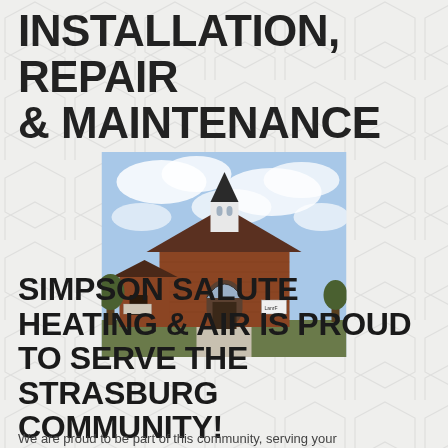INSTALLATION, REPAIR & MAINTENANCE
[Figure (photo): Exterior photo of a brick church building with a white steeple and arched entrance, against a partly cloudy sky. Trees visible in background.]
SIMPSON SALUTE HEATING & AIR IS PROUD TO SERVE THE STRASBURG COMMUNITY!
We are proud to be part of this community, serving your